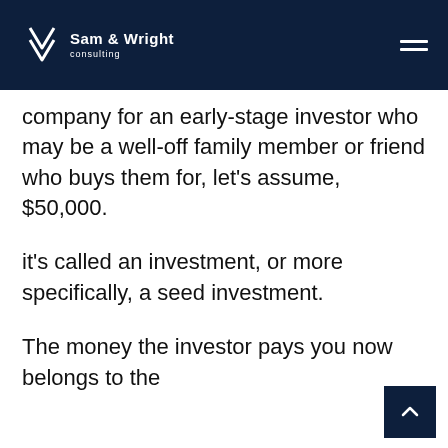Sam & Wright consulting
company for an early-stage investor who may be a well-off family member or friend who buys them for, let's assume, $50,000.
it's called an investment, or more specifically, a seed investment.
The money the investor pays you now belongs to the